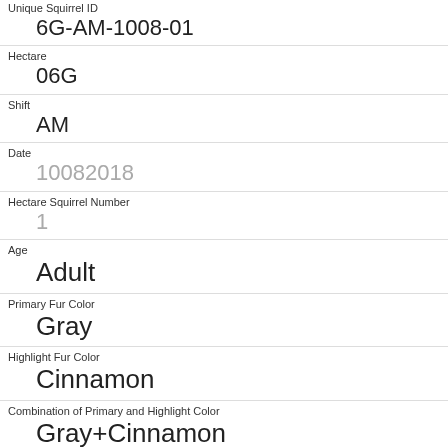| Unique Squirrel ID | 6G-AM-1008-01 |
| Hectare | 06G |
| Shift | AM |
| Date | 10082018 |
| Hectare Squirrel Number | 1 |
| Age | Adult |
| Primary Fur Color | Gray |
| Highlight Fur Color | Cinnamon |
| Combination of Primary and Highlight Color | Gray+Cinnamon |
| Color notes |  |
| Location |  |